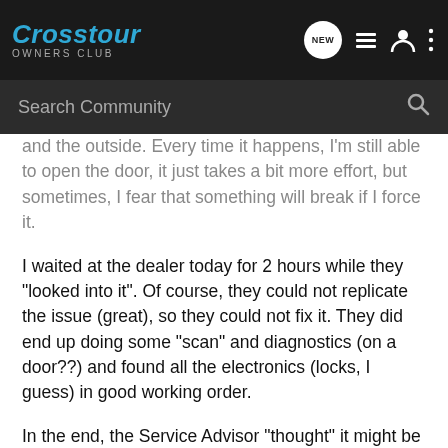Crosstour OWNERS CLUB
Search Community
and the outside. Every time it happens, I'm still able to open the door, it just takes a bit more effort, but sometimes, I fear that something will break if I force it.
I waited at the dealer today for 2 hours while they "looked into it". Of course, they could not replicate the issue (great), so they could not fix it. They did end up doing some "scan" and diagnostics (on a door??) and found all the electronics (locks, I guess) in good working order.
In the end, the Service Advisor "thought" it might be either the actuator or a "lock rod" that did not extend far enough, but because he did not know, he could not order a new one. The thought behind that was he would need to send the old one back to Honda, and if it was not broken, Honda would think that they were turning in fraudulent warranty claims. In my mind